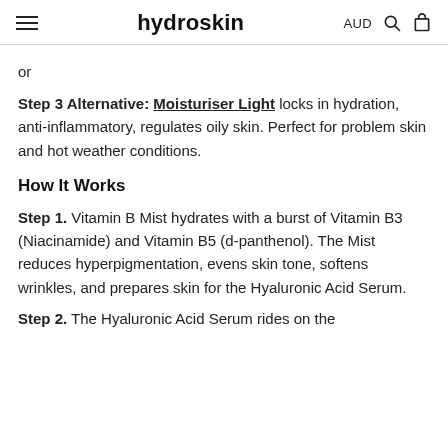hydroskin  AUD [search] [cart]
or
Step 3 Alternative: Moisturiser Light locks in hydration, anti-inflammatory, regulates oily skin. Perfect for problem skin and hot weather conditions.
How It Works
Step 1. Vitamin B Mist hydrates with a burst of Vitamin B3 (Niacinamide) and Vitamin B5 (d-panthenol). The Mist reduces hyperpigmentation, evens skin tone, softens wrinkles, and prepares skin for the Hyaluronic Acid Serum.
Step 2. The Hyaluronic Acid Serum rides on the